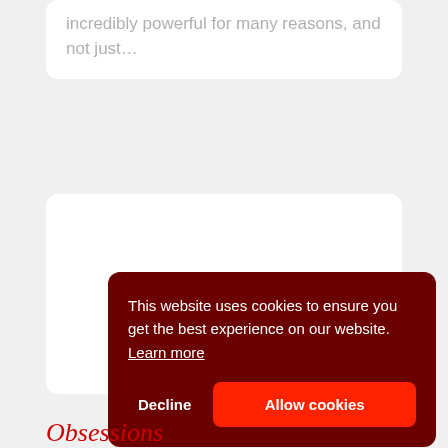incredibly powerful for many reasons, and not just...
This website uses cookies to ensure you get the best experience on our website. Learn more
Decline
Allow cookies
Obsessions